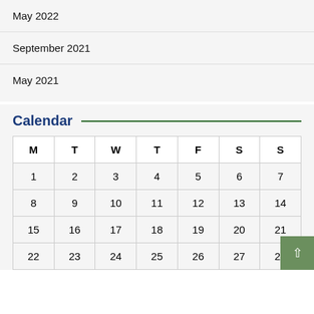May 2022
September 2021
May 2021
Calendar
| M | T | W | T | F | S | S |
| --- | --- | --- | --- | --- | --- | --- |
| 1 | 2 | 3 | 4 | 5 | 6 | 7 |
| 8 | 9 | 10 | 11 | 12 | 13 | 14 |
| 15 | 16 | 17 | 18 | 19 | 20 | 21 |
| 22 | 23 | 24 | 25 | 26 | 27 | 28 |